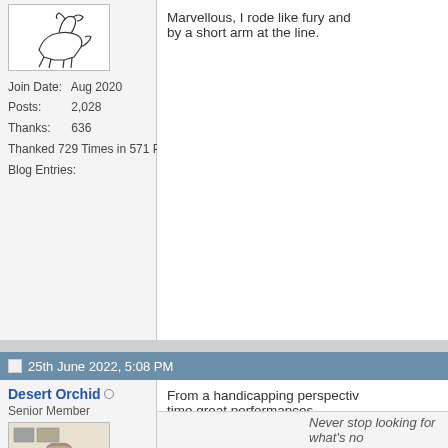[Figure (illustration): Horse running sketch/illustration in white box]
Join Date: Aug 2020
Posts: 2,028
Thanks: 636
Thanked 729 Times in 571 Posts63
Blog Entries:
Marvellous, I rode like fury and by a short arm at the line.
25th June 2022, 5:08 PM
Desert Orchid
Senior Member
[Figure (photo): Profile photo of a man, middle-aged, in a dark jacket, against a light background]
Join Date: Aug 2005
Posts: 20,488
Thanks: 2,253
Thanked 2,832 Times in 2,212 Posts
From a handicapping perspective time great performances.

The implication is that the Ascot erse.

I need to watch it again. I'm still
Never stop looking for what's no